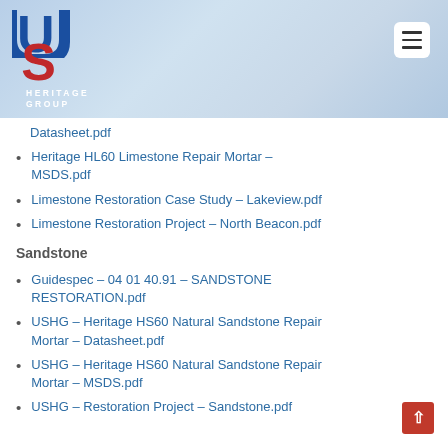[Figure (logo): US Heritage Group logo with blue U, red S, and white HERITAGE GROUP text on gradient blue banner background with hamburger menu icon]
Datasheet.pdf
Heritage HL60 Limestone Repair Mortar – MSDS.pdf
Limestone Restoration Case Study – Lakeview.pdf
Limestone Restoration Project – North Beacon.pdf
Sandstone
Guidespec – 04 01 40.91 – SANDSTONE RESTORATION.pdf
USHG – Heritage HS60 Natural Sandstone Repair Mortar – Datasheet.pdf
USHG – Heritage HS60 Natural Sandstone Repair Mortar – MSDS.pdf
USHG – Restoration Project – Sandstone.pdf